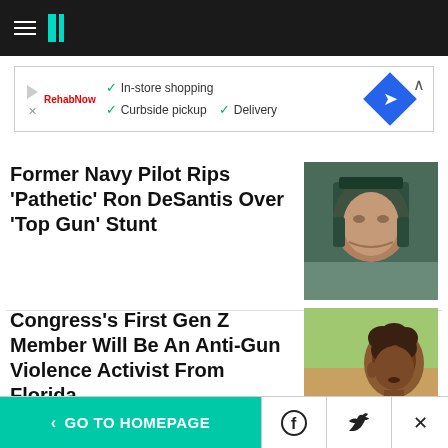HuffPost navigation bar with hamburger menu and logo
[Figure (screenshot): Advertisement banner: In-store shopping, Curbside pickup, Delivery with direction icon]
Former Navy Pilot Rips 'Pathetic' Ron DeSantis Over 'Top Gun' Stunt
[Figure (photo): Close-up of a man wearing a military helmet, squinting]
Congress's First Gen Z Member Will Be An Anti-Gun Violence Activist From Florida
[Figure (photo): Side profile of a young Black man with curly hair outdoors]
< GO TO HOMEPAGE | Facebook | Twitter | X